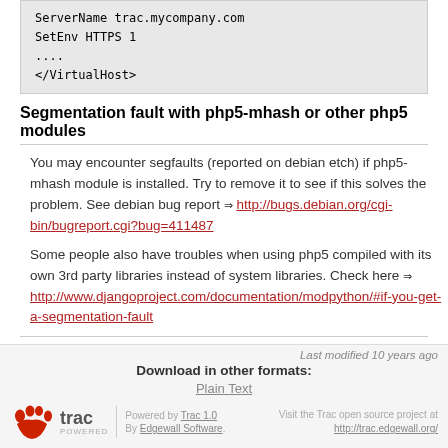ServerName trac.mycompany.com
SetEnv HTTPS 1
....
</VirtualHost>
Segmentation fault with php5-mhash or other php5 modules
You may encounter segfaults (reported on debian etch) if php5-mhash module is installed. Try to remove it to see if this solves the problem. See debian bug report ⇒ http://bugs.debian.org/cgi-bin/bugreport.cgi?bug=411487
Some people also have troubles when using php5 compiled with its own 3rd party libraries instead of system libraries. Check here ⇒ http://www.djangoproject.com/documentation/modpython/#if-you-get-a-segmentation-fault
See also: TracGuide, TracInstall, ModWSGI, FastCGI, ⇒ TracNginxRecipe
Last modified 10 years ago
Download in other formats:
Plain Text
Powered by Trac 1.0
By Edgewall Software.
Visit the Trac open source project at http://trac.edgewall.org/